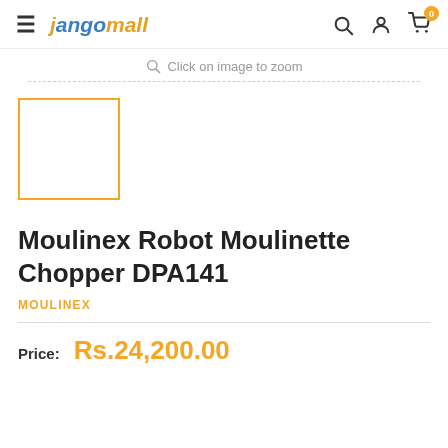jangomall — navigation bar with hamburger menu, logo, search, account, cart (0)
Click on image to zoom
[Figure (photo): Small thumbnail placeholder box with orange/yellow border, empty white interior]
Moulinex Robot Moulinette Chopper DPA141
MOULINEX
Price: Rs.24,200.00